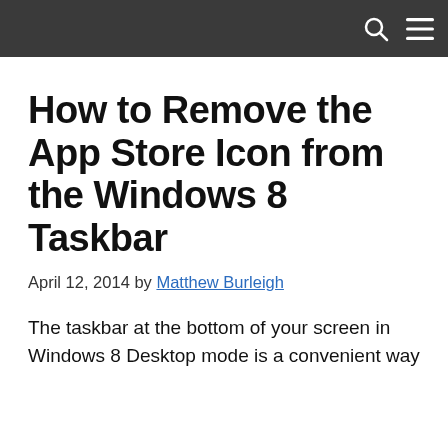How to Remove the App Store Icon from the Windows 8 Taskbar
April 12, 2014 by Matthew Burleigh
The taskbar at the bottom of your screen in Windows 8 Desktop mode is a convenient way